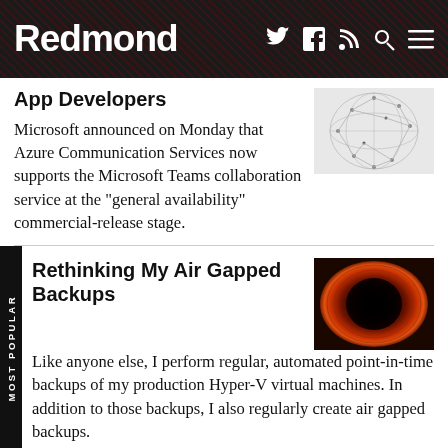Redmond
App Developers
[Figure (illustration): Wireframe polygon globe illustration with connected nodes on light background]
Microsoft announced on Monday that Azure Communication Services now supports the Microsoft Teams collaboration service at the "general availability" commercial-release stage.
Rethinking My Air Gapped Backups
[Figure (photo): Dark vortex/tunnel with orange-red glowing edges, abstract dark hole photo]
Like anyone else, I perform regular, automated point-in-time backups of my production Hyper-V virtual machines. In addition to those backups, I also regularly create air gapped backups.